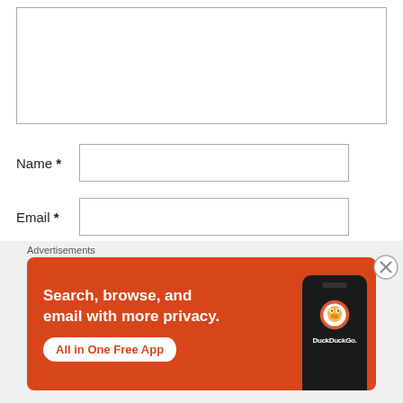[Figure (screenshot): A web form with a comment textarea (empty), followed by Name *, Email *, and Website fields. Below the form is an advertisement overlay for DuckDuckGo showing 'Search, browse, and email with more privacy. All in One Free App' with a phone graphic and DuckDuckGo logo on an orange/red background.]
Name *
Email *
Website
Advertisements
Search, browse, and email with more privacy.
All in One Free App